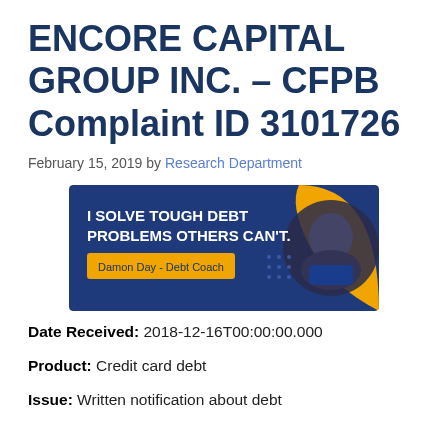ENCORE CAPITAL GROUP INC. – CFPB Complaint ID 3101726
February 15, 2019 by Research Department
[Figure (photo): Advertisement banner with blue background and gold curve. Text reads 'I SOLVE TOUGH DEBT PROBLEMS OTHERS CAN'T.' with a yellow button labeled 'Damon Day - Debt Coach'. A photo of a man with a beard in a blue jacket is on the right side.]
Date Received: 2018-12-16T00:00:00.000
Product: Credit card debt
Issue: Written notification about debt